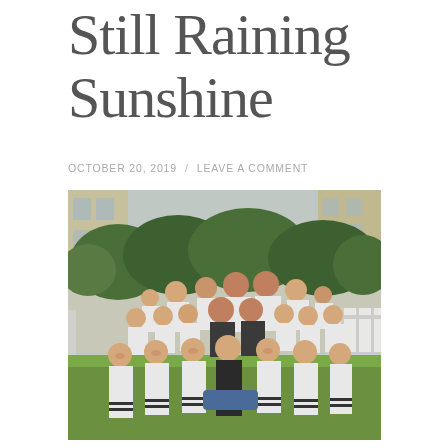Still Raining Sunshine
OCTOBER 20, 2019 / LEAVE A COMMENT
[Figure (photo): Group photo of young children and teachers in matching white and navy polo shirts with striped socks, posing together on a green lawn outdoors, with trees and a yellow building in the background.]